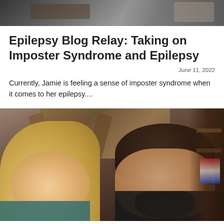[Figure (photo): Partial photo visible at top of page, cropped]
Epilepsy Blog Relay: Taking on Imposter Syndrome and Epilepsy
June 11, 2022
Currently, Jamie is feeling a sense of imposter syndrome when it comes to her epilepsy....
[Figure (photo): Selfie photo of a blonde woman and a man with dark hair and beard, taken indoors with wooden decor visible in background]